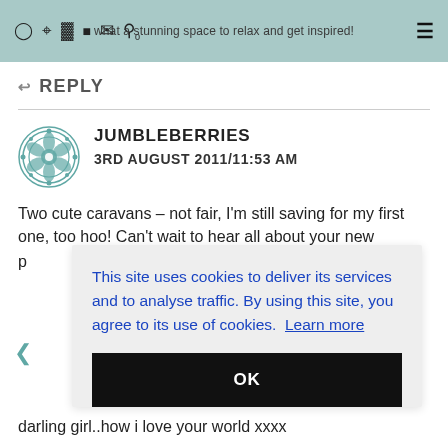what a stunning space to relax and get inspired!
↩ REPLY
JUMBLEBERRIES
3RD AUGUST 2011/11:53 AM
Two cute caravans – not fair, I'm still saving for my first one, too hoo! Can't wait to hear all about your new
This site uses cookies to deliver its services and to analyse traffic. By using this site, you agree to its use of cookies. Learn more
OK
darling girl..how i love your world xxxx